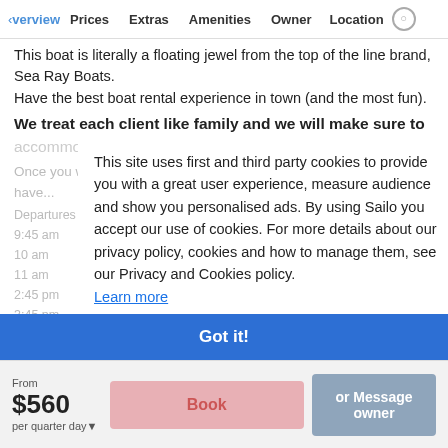Overview | Prices | Extras | Amenities | Owner | Location
This boat is literally a floating jewel from the top of the line brand, Sea Ray Boats. Have the best boat rental experience in town (and the most fun).
We treat each client like family and we will make sure to accommodate your requests if we are able to.
Once you will call us to make sure you have...
Departures are only at: 9:45 am, 10 am, 11 am, 2:45 pm, 3:45 pm
This site uses first and third party cookies to provide you with a great user experience, measure audience and show you personalised ads. By using Sailo you accept our use of cookies. For more details about our privacy policy, cookies and how to manage them, see our Privacy and Cookies policy. Learn more
Got it!
From $560 per quarter day | Book | Message owner